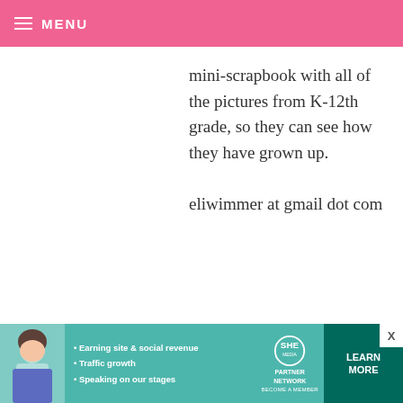MENU
mini-scrapbook with all of the pictures from K-12th grade, so they can see how they have grown up.

eliwimmer at gmail dot com
YASMEEN — AUGUST 21, 2008 @ 6:28 PM REPLY

A very unique idea Bakerella. Your niece is amazing.

I just submitted my lunch recipe at giveback.parentsconnect.com
[Figure (infographic): SHE Partner Network advertisement banner with woman photo, bullet points about earning site & social revenue, traffic growth, speaking on our stages, and a Learn More button]